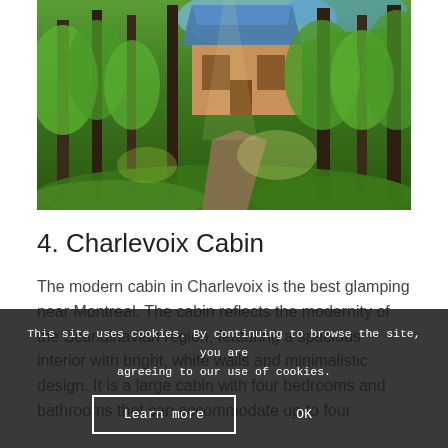[Figure (photo): A forest path leading to a wooden cabin surrounded by tall trees and lush green foliage, with sunlight filtering through the canopy.]
4. Charlevoix Cabin
The modern cabin in Charlevoix is the best glamping near Montreal. The cabin reflects the modernity of the Scandinavian region, featuring a spacious interior with bright, white walls and minimalistic design. It is a large cabin with four bedrooms and bathrooms that can accommodate up to four...
This site uses cookies. By continuing to browse the site, you are agreeing to our use of cookies.
Learn more
OK